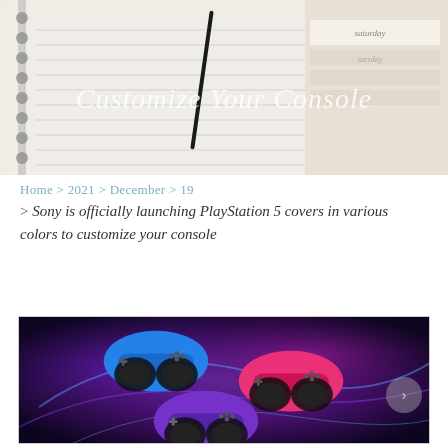[Figure (photo): Notebook, pen, and planner on desk — header hero image with overlaid italic text 'Customize Your Console']
Home > 2021 > December > 19
> Sony is officially launching PlayStation 5 covers in various colors to customize your console
[Figure (photo): Three PlayStation 5 DualSense controllers in blue, pink/red, and purple colorways, displayed on a purple cosmic/galaxy background with glowing light streaks]